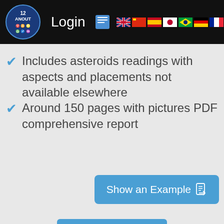Login
Includes asteroids readings with aspects and placements not available elsewhere
Around 150 pages with pictures PDF comprehensive report
Show an Example